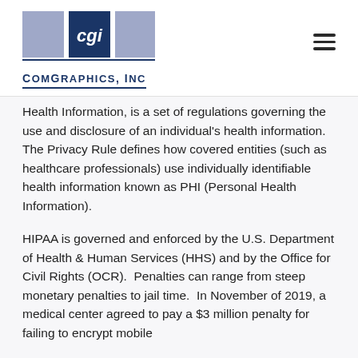[Figure (logo): CGI ComGraphics, Inc. logo with three rectangular blocks in blue/lavender and company name]
Health Information, is a set of regulations governing the use and disclosure of an individual's health information. The Privacy Rule defines how covered entities (such as healthcare professionals) use individually identifiable health information known as PHI (Personal Health Information).
HIPAA is governed and enforced by the U.S. Department of Health & Human Services (HHS) and by the Office for Civil Rights (OCR).  Penalties can range from steep monetary penalties to jail time.  In November of 2019, a medical center agreed to pay a $3 million penalty for failing to encrypt mobile